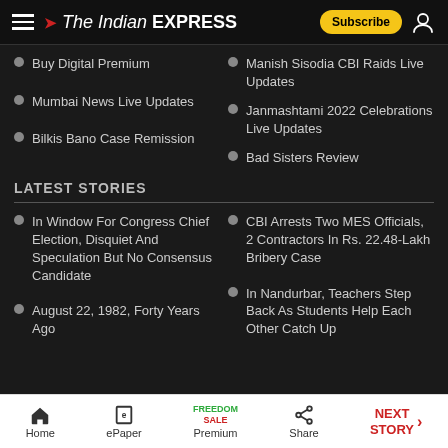The Indian Express
Buy Digital Premium
Manish Sisodia CBI Raids Live Updates
Mumbai News Live Updates
Janmashtami 2022 Celebrations Live Updates
Bilkis Bano Case Remission
Bad Sisters Review
LATEST STORIES
In Window For Congress Chief Election, Disquiet And Speculation But No Consensus Candidate
CBI Arrests Two MES Officials, 2 Contractors In Rs. 22.48-Lakh Bribery Case
August 22, 1982, Forty Years Ago
In Nandurbar, Teachers Step Back As Students Help Each Other Catch Up
Home | ePaper | Premium | Share | NEXT STORY